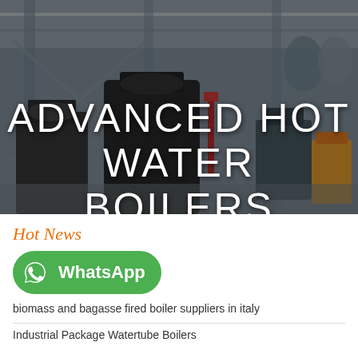[Figure (photo): Industrial factory/warehouse interior with boilers and equipment, dimly lit with overhead cranes and industrial machinery visible, used as a hero background image]
ADVANCED HOT WATER BOILERS
Hot News
[Figure (logo): WhatsApp button/logo - green rounded rectangle with WhatsApp phone icon and text 'WhatsApp']
biomass and bagasse fired boiler suppliers in italy
Industrial Package Watertube Boilers